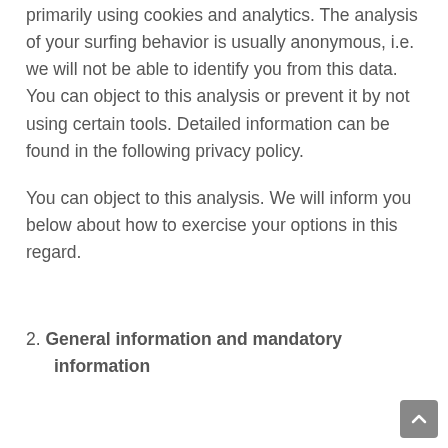primarily using cookies and analytics. The analysis of your surfing behavior is usually anonymous, i.e. we will not be able to identify you from this data. You can object to this analysis or prevent it by not using certain tools. Detailed information can be found in the following privacy policy.
You can object to this analysis. We will inform you below about how to exercise your options in this regard.
2. General information and mandatory information